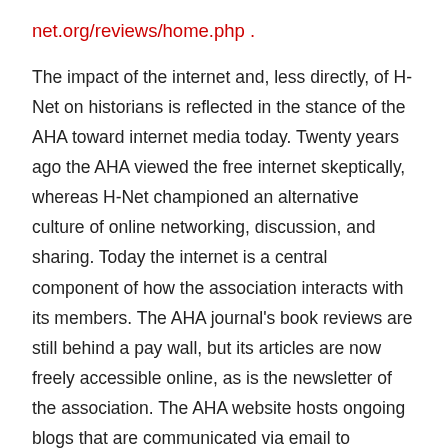net.org/reviews/home.php .
The impact of the internet and, less directly, of H-Net on historians is reflected in the stance of the AHA toward internet media today. Twenty years ago the AHA viewed the free internet skeptically, whereas H-Net championed an alternative culture of online networking, discussion, and sharing. Today the internet is a central component of how the association interacts with its members. The AHA journal's book reviews are still behind a pay wall, but its articles are now freely accessible online, as is the newsletter of the association. The AHA website hosts ongoing blogs that are communicated via email to members and even retains a staff member dedicated to social networking who reports on members' tweeting at the annual meeting.